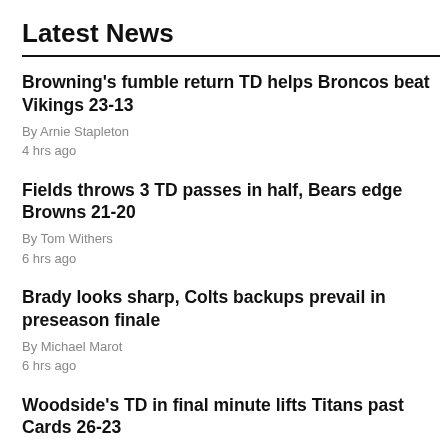Latest News
Browning's fumble return TD helps Broncos beat Vikings 23-13
By Arnie Stapleton
4 hrs ago
Fields throws 3 TD passes in half, Bears edge Browns 21-20
By Tom Withers
6 hrs ago
Brady looks sharp, Colts backups prevail in preseason finale
By Michael Marot
6 hrs ago
Woodside's TD in final minute lifts Titans past Cards 26-23